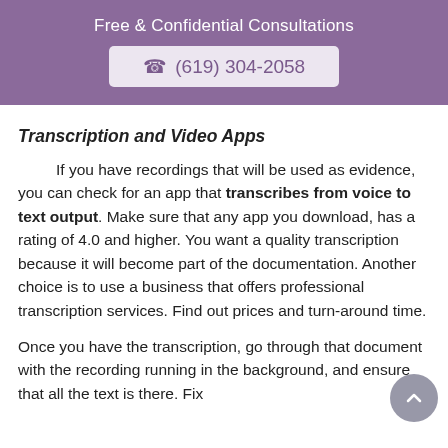Free & Confidential Consultations
☎ (619) 304-2058
Transcription and Video Apps
If you have recordings that will be used as evidence, you can check for an app that transcribes from voice to text output. Make sure that any app you download, has a rating of 4.0 and higher. You want a quality transcription because it will become part of the documentation. Another choice is to use a business that offers professional transcription services. Find out prices and turn-around time.
Once you have the transcription, go through that document with the recording running in the background, and ensure that all the text is there. Fix